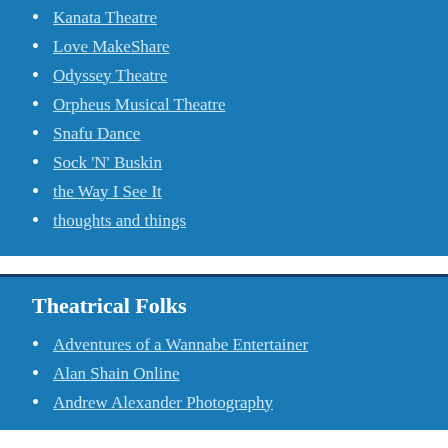Kanata Theatre
Love MakeShare
Odyssey Theatre
Orpheus Musical Theatre
Snafu Dance
Sock 'N' Buskin
the Way I See It
thoughts and things
Theatrical Folks
Adventures of a Wannabe Entertainer
Alan Shain Online
Andrew Alexander Photography